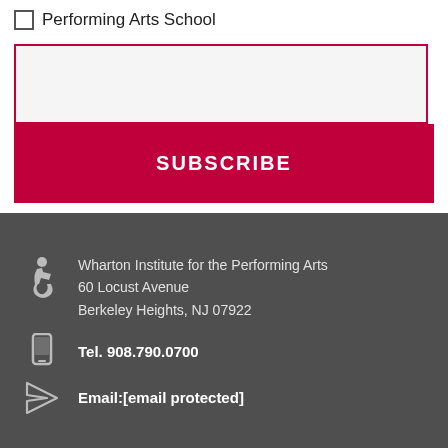Performing Arts School
SUBSCRIBE
Wharton Institute for the Performing Arts
60 Locust Avenue
Berkeley Heights, NJ 07922
Tel. 908.790.0700
Email:[email protected]